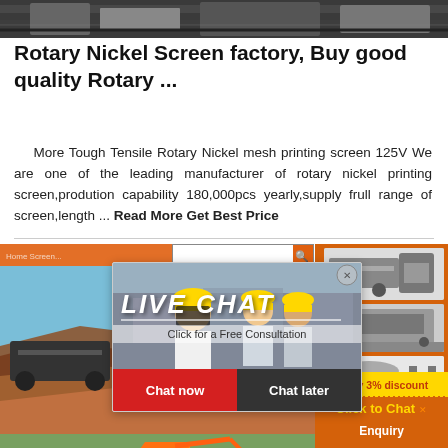[Figure (screenshot): Top banner image showing industrial machinery/conveyor equipment]
Rotary Nickel Screen factory, Buy good quality Rotary ...
More Tough Tensile Rotary Nickel mesh printing screen 125V We are one of the leading manufacturer of rotary nickel printing screen,prodution capability 180,000pcs yearly,supply frull range of screen,length ... Read More Get Best Price
[Figure (screenshot): Screenshot of website showing live chat overlay popup with workers in hard hats. Live chat popup says: LIVE CHAT, Click for a Free Consultation, Chat now, Chat later. Right sidebar shows industrial machinery and orange promotional panel with Enjoy 3% discount, Click to Chat, and Enquiry buttons.]